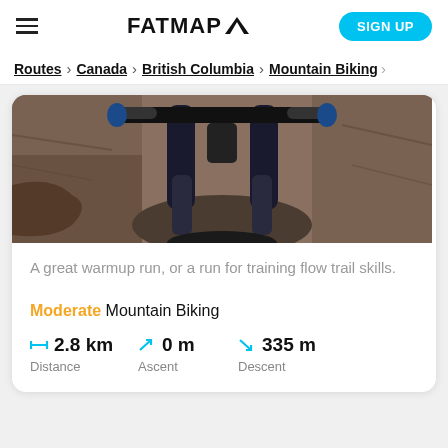FATMAP  SIGN UP
Routes > Canada > British Columbia > Mountain Biking
[Figure (photo): Point-of-view photo from a mountain bike rider on a dirt trail, showing the handlebars and front suspension fork of the bike with rocky terrain below.]
A great warmup run, or a run for training flow trail skills.
Moderate Mountain Biking
2.8 km Distance  0 m Ascent  335 m Descent